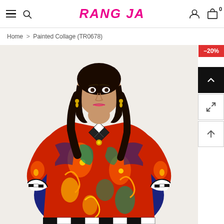RANG JA
Home > Painted Collage (TR0678)
[Figure (photo): Woman wearing a colorful printed kurti/tunic with paisley and geometric patterns in red, blue, green and gold colors. The garment has a V-neckline with a geometric black and white collar design and 3/4 sleeves with black and white trim at the cuffs.]
-20%